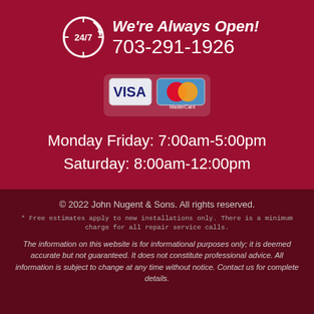We're Always Open! 703-291-1926
[Figure (logo): Visa and MasterCard payment card logos side by side]
Monday Friday: 7:00am-5:00pm
Saturday: 8:00am-12:00pm
© 2022 John Nugent & Sons. All rights reserved.
* Free estimates apply to new installations only. There is a minimum charge for all repair service calls.
The information on this website is for informational purposes only; it is deemed accurate but not guaranteed. It does not constitute professional advice. All information is subject to change at any time without notice. Contact us for complete details.